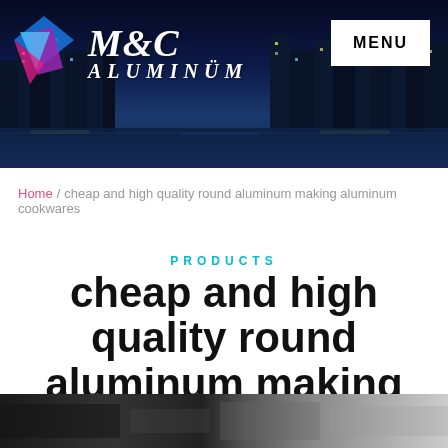[Figure (photo): City skyline at night with M&C Aluminum logo featuring diamond shapes in purple/blue/magenta and M&C ALUMINUM text in white italic serif font, with a white MENU button in the top right corner]
Home / cheap and high quality round aluminum making aluminum cookwares
PRODUCTS
cheap and high quality round aluminum making aluminum cookwares
[Figure (photo): Bottom strip showing partial product image, dark tones]